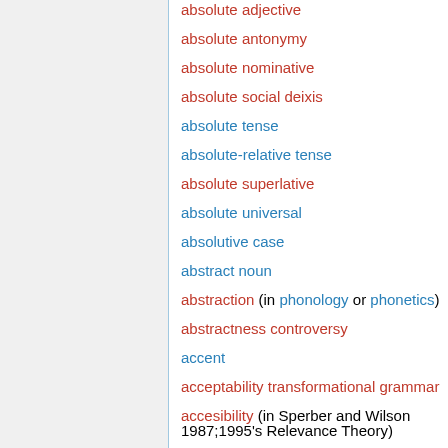absolute adjective
absolute antonymy
absolute nominative
absolute social deixis
absolute tense
absolute-relative tense
absolute superlative
absolute universal
absolutive case
abstract noun
abstraction (in phonology or phonetics)
abstractness controversy
accent
acceptability transformational grammar
accesibility (in Sperber and Wilson 1987;1995's Relevance Theory)